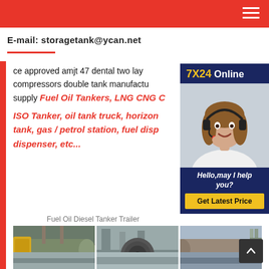E-mail: storagetank@ycan.net
ce approved amjt 47 dental two lay compressors double tank manufactu supply Fuel Oil Tankers, LNG CNG C ISO Tanker, oil tank truck, horizon tank, gas / petrol station, fuel disp dispenser, etc...
[Figure (photo): Customer service representative wearing a headset, smiling. Sidebar widget with '7X24 Online' header in navy/gold, photo of agent, 'Hello, may I help you?' text, and 'Get Latest Price' yellow button.]
Fuel Oil Diesel Tanker Trailer
[Figure (photo): Three factory/manufacturing photos showing large cylindrical tank components being fabricated in an industrial facility.]